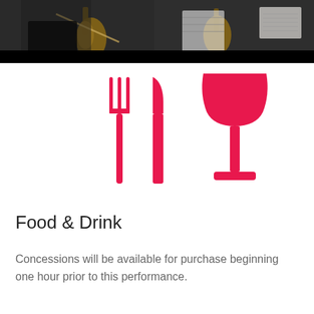[Figure (photo): Orchestra musicians playing violins, photo cropped at top of page]
[Figure (illustration): Pink/red icons of a fork, knife, and wine glass representing food and drink]
Food & Drink
Concessions will be available for purchase beginning one hour prior to this performance.